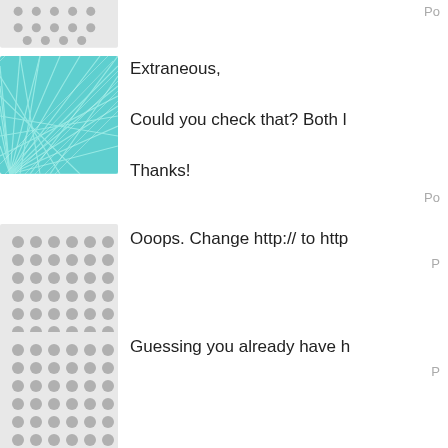[Figure (illustration): Small square avatar with grey dot grid pattern (cropped at top)]
Po
[Figure (illustration): Small square avatar with teal/cyan radiating fiber/tentacle pattern]
Extraneous,

Could you check that? Both l

Thanks!
Po
[Figure (illustration): Small square avatar with grey dot grid pattern]
Ooops. Change http:// to http
P
[Figure (illustration): Small square avatar with grey dot grid pattern]
Guessing you already have h
P
[Figure (illustration): Small square avatar with blue wave/water pattern]
Well it is so coordinated that 
tonight. Do you believe in coi
Poste
[Figure (illustration): Small square avatar with grey dot grid pattern (partially visible at bottom)]
I think I typed that correctly b